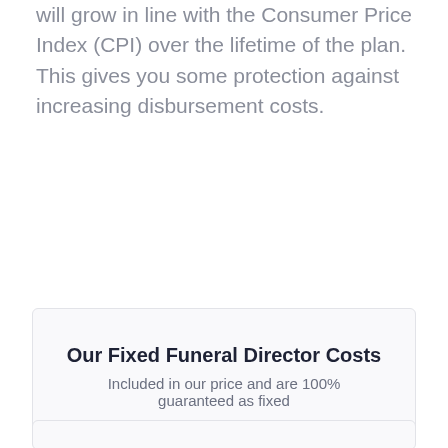will grow in line with the Consumer Price Index (CPI) over the lifetime of the plan. This gives you some protection against increasing disbursement costs.
Our Fixed Funeral Director Costs
Included in our price and are 100% guaranteed as fixed